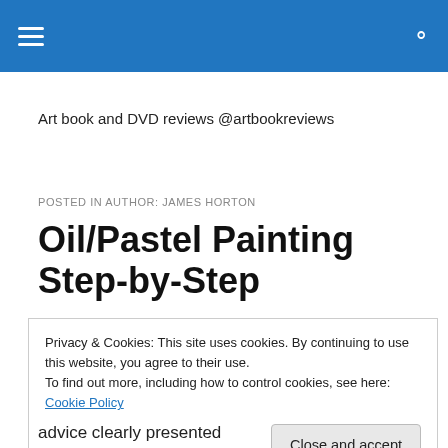≡  🔍
Art book and DVD reviews @artbookreviews
POSTED IN AUTHOR: JAMES HORTON
Oil/Pastel Painting Step-by-Step
Privacy & Cookies: This site uses cookies. By continuing to use this website, you agree to their use.
To find out more, including how to control cookies, see here: Cookie Policy
Close and accept
advice clearly presented